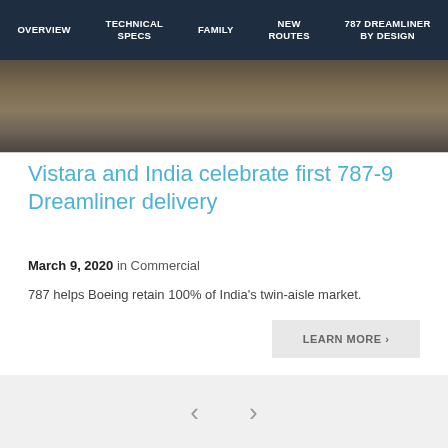OVERVIEW | TECHNICAL SPECS | FAMILY | NEW ROUTES | 787 DREAMLINER BY DESIGN
[Figure (photo): Aerial or ground-level photo of an airport runway/tarmac in muted brown and grey tones]
Vistara and India celebrate first 787-9 Dreamliner delivery
March 9, 2020 in Commercial
787 helps Boeing retain 100% of India's twin-aisle market.
LEARN MORE >
< >